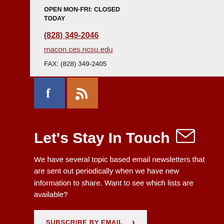OPEN MON-FRI: CLOSED
TODAY
(828) 349-2046
macon.ces.ncsu.edu
FAX: (828) 349-2405
[Figure (illustration): Facebook and RSS social media icons]
Let's Stay In Touch
We have several topic based email newsletters that are sent out periodically when we have new information to share. Want to see which lists are available?
SUBSCRIBE BY EMAIL